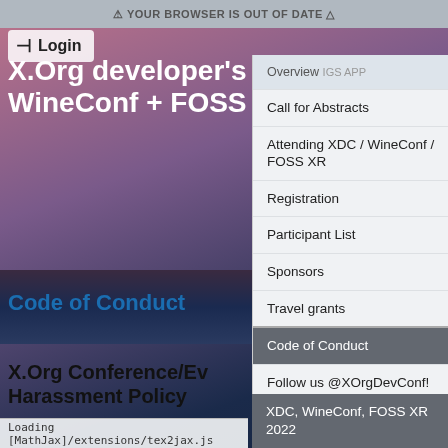⚠ YOUR BROWSER IS OUT OF DATE △
Login
X.Org developer's WineConf + FOSS
Overview
Call for Abstracts
Attending XDC / WineConf / FOSS XR
Registration
Participant List
Sponsors
Travel grants
Code of Conduct
Follow us @XOrgDevConf!
Code of Conduct
X.Org Conference/Ev Harassment Policy
XDC, WineConf, FOSS XR 2022
Loading [MathJax]/extensions/tex2jax.js